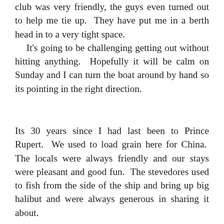club was very friendly, the guys even turned out to help me tie up. They have put me in a berth head in to a very tight space. It's going to be challenging getting out without hitting anything. Hopefully it will be calm on Sunday and I can turn the boat around by hand so its pointing in the right direction.
Its 30 years since I had last been to Prince Rupert. We used to load grain here for China. The locals were always friendly and our stays were pleasant and good fun. The stevedores used to fish from the side of the ship and bring up big halibut and were always generous in sharing it about.